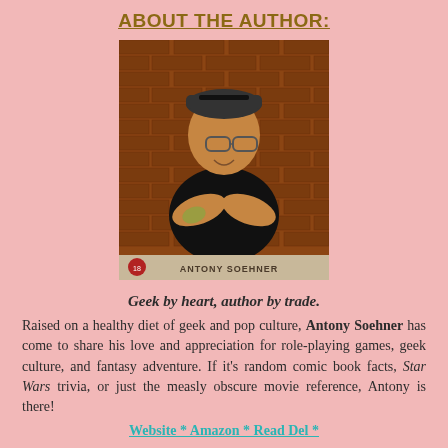ABOUT THE AUTHOR:
[Figure (photo): Author photo of Antony Soehner standing with arms crossed in front of a brick wall, wearing a black t-shirt and glasses, with a backwards cap. Caption reads 'ANTONY SOEHNER'.]
Geek by heart, author by trade.
Raised on a healthy diet of geek and pop culture, Antony Soehner has come to share his love and appreciation for role-playing games, geek culture, and fantasy adventure. If it's random comic book facts, Star Wars trivia, or just the measly obscure movie reference, Antony is there!
Website * Amazon * Read Del *